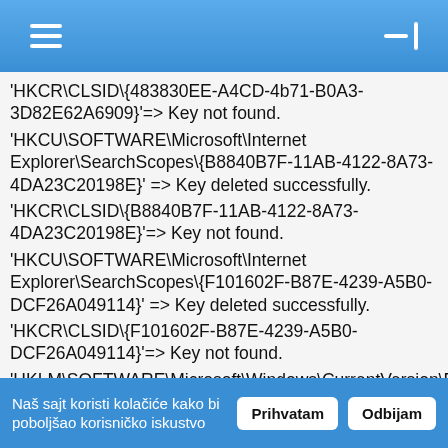☰  —|
'HKCR\CLSID\{483830EE-A4CD-4b71-B0A3-3D82E62A6909}'=> Key not found.
'HKCU\SOFTWARE\Microsoft\Internet Explorer\SearchScopes\{B8840B7F-11AB-4122-8A73-4DA23C20198E}' => Key deleted successfully.
'HKCR\CLSID\{B8840B7F-11AB-4122-8A73-4DA23C20198E}'=> Key not found.
'HKCU\SOFTWARE\Microsoft\Internet Explorer\SearchScopes\{F101602F-B87E-4239-A5B0-DCF26A049114}' => Key deleted successfully.
'HKCR\CLSID\{F101602F-B87E-4239-A5B0-DCF26A049114}'=> Key not found.
'HKLM\SOFTWARE\Microsoft\Windows\CurrentVersion\Explorer\Browser Helper Objects\{111111111-1111-1111-1111-110311401168}'=> Key not found.
'HKCR\CLSID\{111111111-1111-1111-1111-110311401168}'=> Key not found.
'HKLM\SOFTWARE\Microsoft\Windows\CurrentVersion\Explorer\Browser Helper Objects\{111111111-1111-1111-1111-110511131190}'=> Key not found.
Naš sajt koristi kolačiće kako bi poboljšao korisničko iskustvo
Prihvatam  Odbijam